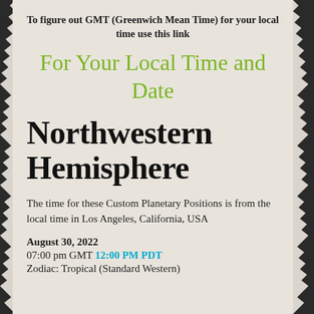To figure out GMT (Greenwich Mean Time) for your local time use this link
For Your Local Time and Date
Northwestern Hemisphere
The time for these Custom Planetary Positions is from the local time in Los Angeles, California, USA
August 30, 2022
07:00 pm GMT 12:00 PM PDT
Zodiac: Tropical (Standard Western)